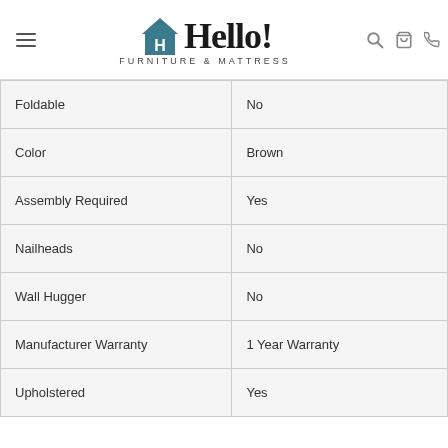Hello! Furniture & Mattress
| Foldable | No |
| Color | Brown |
| Assembly Required | Yes |
| Nailheads | No |
| Wall Hugger | No |
| Manufacturer Warranty | 1 Year Warranty |
| Upholstered | Yes |